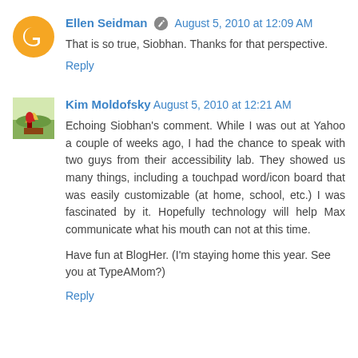Ellen Seidman  August 5, 2010 at 12:09 AM
That is so true, Siobhan. Thanks for that perspective.
Reply
Kim Moldofsky  August 5, 2010 at 12:21 AM
Echoing Siobhan's comment. While I was out at Yahoo a couple of weeks ago, I had the chance to speak with two guys from their accessibility lab. They showed us many things, including a touchpad word/icon board that was easily customizable (at home, school, etc.) I was fascinated by it. Hopefully technology will help Max communicate what his mouth can not at this time.

Have fun at BlogHer. (I'm staying home this year. See you at TypeAMom?)
Reply